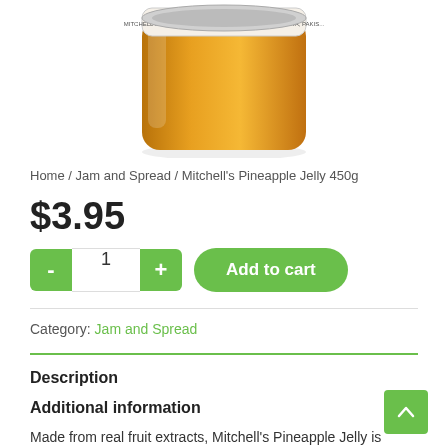[Figure (photo): Photo of Mitchell's Pineapple Jelly 450g jar, showing golden/amber colored jelly in a glass jar, partially cropped at top of page]
Home / Jam and Spread / Mitchell's Pineapple Jelly 450g
$3.95
- 1 + Add to cart
Category: Jam and Spread
Description
Additional information
Made from real fruit extracts, Mitchell's Pineapple Jelly is vibrant with the natural sweetness of carefully selected